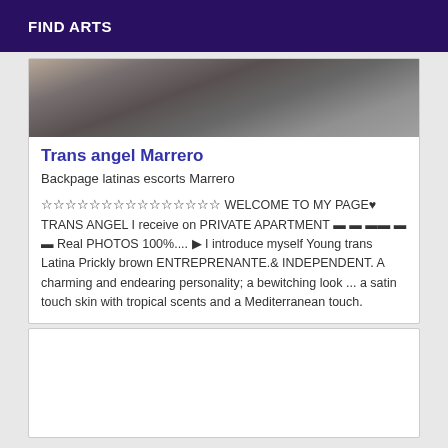FIND ARTS
[Figure (photo): Partial photo showing a dark textured background, possibly a floor or table surface with some dark object partially visible]
Trans angel Marrero
Backpage latinas escorts Marrero
☆☆☆☆☆☆☆☆☆☆☆☆☆☆☆ WELCOME TO MY PAGE♥ TRANS ANGEL I receive on PRIVATE APARTMENT ▬ ▬ ▬▬ ▬ ▬ Real PHOTOS 100%.... ▶ I introduce myself Young trans Latina Prickly brown ENTREPRENANTE.& INDEPENDENT. A charming and endearing personality; a bewitching look ... a satin touch skin with tropical scents and a Mediterranean touch.